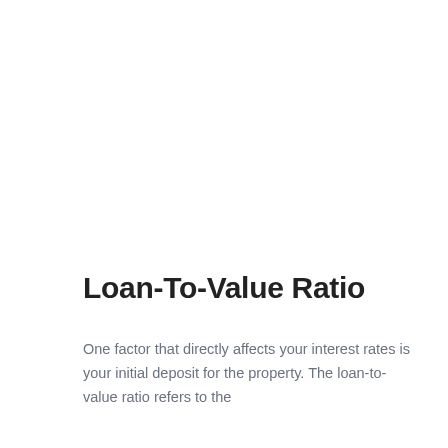Loan-To-Value Ratio
One factor that directly affects your interest rates is your initial deposit for the property. The loan-to-value ratio refers to the